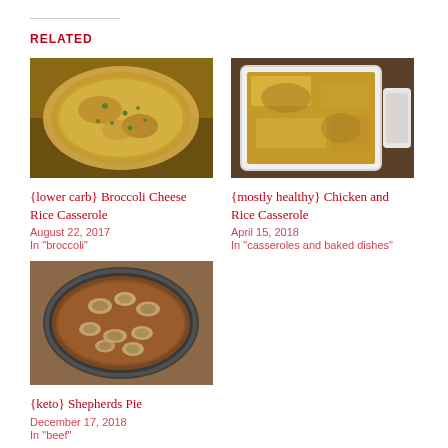RELATED
[Figure (photo): Overhead view of a round casserole dish with broccoli cheese rice casserole, golden brown top with green flecks]
{lower carb} Broccoli Cheese Rice Casserole
August 22, 2017
In "broccoli"
[Figure (photo): Close-up of a white baking dish with chicken and rice casserole, golden cheesy top, on a wooden surface]
{mostly healthy} Chicken and Rice Casserole
April 15, 2018
In "casseroles and baked dishes"
[Figure (photo): Overhead view of a round pan with shepherds pie topped with sliced mushrooms in a brown gravy]
{keto} Shepherds Pie
December 17, 2018
In "beef"